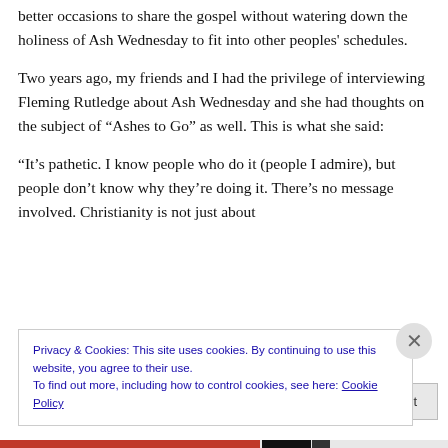better occasions to share the gospel without watering down the holiness of Ash Wednesday to fit into other peoples' schedules.
Two years ago, my friends and I had the privilege of interviewing Fleming Rutledge about Ash Wednesday and she had thoughts on the subject of “Ashes to Go” as well. This is what she said:
“It’s pathetic. I know people who do it (people I admire), but people don’t know why they’re doing it. There’s no message involved. Christianity is not just about
Privacy & Cookies: This site uses cookies. By continuing to use this website, you agree to their use.
To find out more, including how to control cookies, see here: Cookie Policy
Close and accept